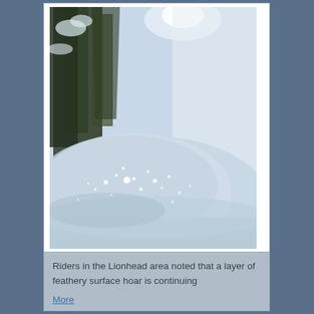[Figure (photo): A winter snow scene showing a large mound of snow with feathery surface hoar crystals visible on the surface, with snow-covered evergreen trees and bright sky in the background.]
Riders in the Lionhead area noted that a layer of feathery surface hoar is continuing
More